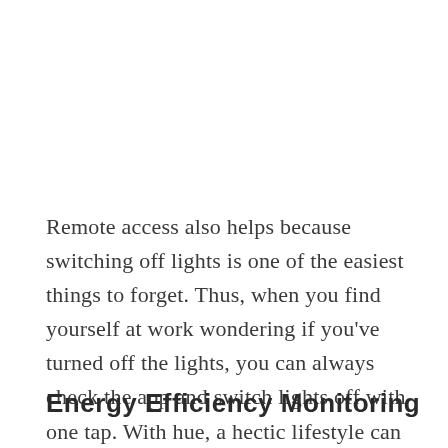Remote access also helps because switching off lights is one of the easiest things to forget. Thus, when you find yourself at work wondering if you've turned off the lights, you can always check the app and switch lights off with one tap. With hue, a hectic lifestyle can still be an energy-efficient one.
Energy Efficiency Monitoring